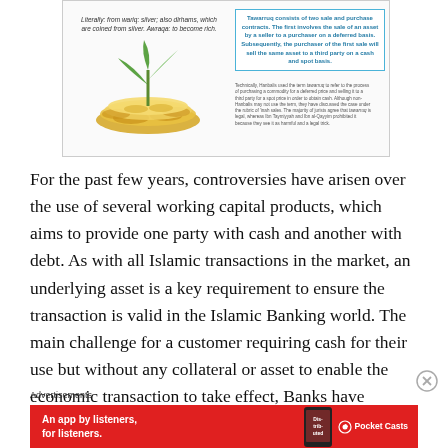[Figure (infographic): An infographic about Tawarruq/Waraqa. Left side has italic text: 'Literally: from wariq: silver; also dirhams, which are coined from silver. Awraqa: to become rich.' Below is a photo of coins with a plant sprouting. Right side has a blue-bordered box with bold blue text: 'Tawarruq consists of two sale and purchase contracts. The first involves the sale of an asset by a seller to a purchaser on a deferred basis. Subsequently, the purchaser of the first sale will sell the same asset to a third party on a cash and spot basis.' Below the box is small print text about Hanbalis and jurists.]
For the past few years, controversies have arisen over the use of several working capital products, which aims to provide one party with cash and another with debt. As with all Islamic transactions in the market, an underlying asset is a key requirement to ensure the transaction is valid in the Islamic Banking world. The main challenge for a customer requiring cash for their use but without any collateral or asset to enable the economic transaction to take effect, Banks have obtained alternative structures to provide the customers with the much-needed cash.
Advertisements
[Figure (screenshot): Red advertisement banner for Pocket Casts app: 'An app by listeners, for listeners.' with a smartphone image showing 'Distributed' on screen and the Pocket Casts logo on the right.]